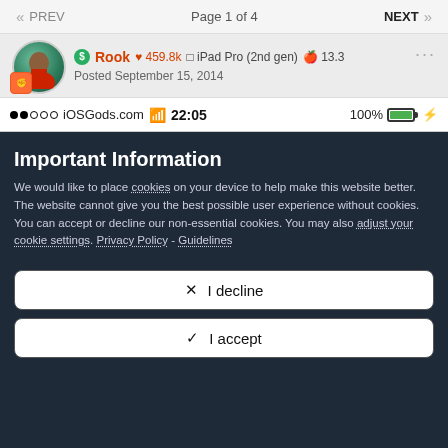« PREV   Page 1 of 4   NEXT »
Rook ♥ 459.8k  iPad Pro (2nd gen)  13.3  Posted September 15, 2014
●●○○○ iOSGods.com  22:05   100% ⚡
Important Information
We would like to place cookies on your device to help make this website better. The website cannot give you the best possible user experience without cookies. You can accept or decline our non-essential cookies. You may also adjust your cookie settings. Privacy Policy - Guidelines
✕  I decline
✓  I accept